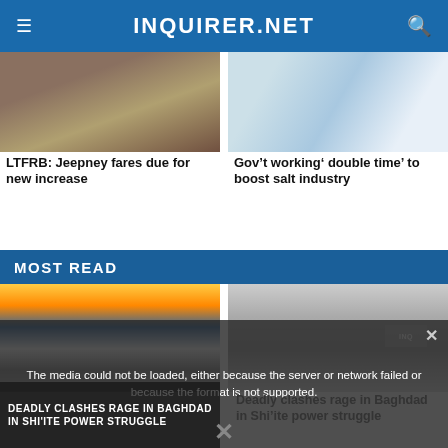INQUIRER.NET
[Figure (photo): Photo of jeepney passengers feet on rail]
[Figure (photo): Abstract blurred light streaks photo]
LTFRB: Jeepney fares due for new increase
Gov’t working‘ double time’ to boost salt industry
MOST READ
[Figure (photo): Airplane on tarmac at sunset]
[Figure (photo): Black and white portrait photo of young woman]
The media could not be loaded, either because the server or network failed or because the format is not supported.
Deadly clashes rage in Baghdad in Shi’ite power struggle
DEADLY CLASHES RAGE IN BAGHDAD IN SHI’ITE POWER STRUGGLE